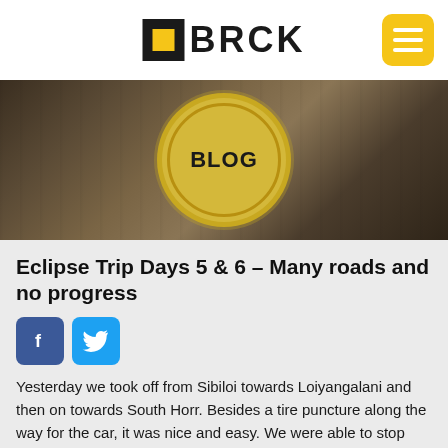BRCK
[Figure (photo): Hero banner image showing a person holding something with 'BLOG' text overlay in a yellow circle, outdoor market/street scene background]
Eclipse Trip Days 5 & 6 – Many roads and no progress
[Figure (infographic): Facebook and Twitter social sharing icon buttons]
Yesterday we took off from Sibiloi towards Loiyangalani and then on towards South Horr. Besides a tire puncture along the way for the car, it was nice and easy. We were able to stop and talk about the eclipse with a few eclipse